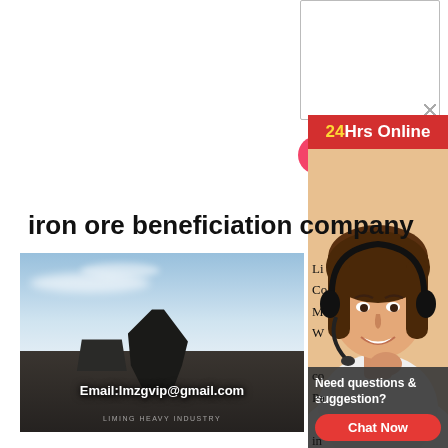[Figure (screenshot): Textarea input box at top right]
[Figure (other): Red 'Send Now' button]
[Figure (photo): 24Hrs Online banner with customer service agent photo and headset]
iron ore beneficiation company
[Figure (photo): Outdoor industrial mining equipment photo with text: Email:lmzgvip@gmail.com and LIMING HEAVY INDUSTRY]
[Figure (photo): Indoor factory floor with industrial machinery]
Li Co M W co Pa in from malaysia and fertilizer from Iron Ore companies in Malaysia Company List Gtglobe Inc Malaysia Info Web Phone Raub